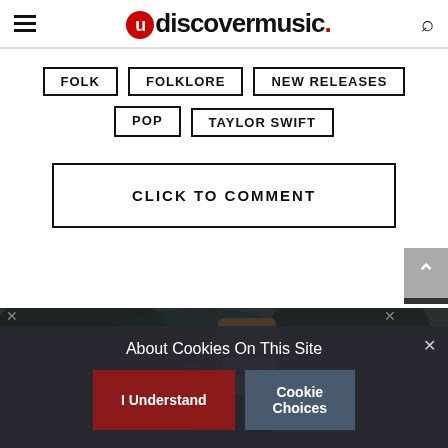udiscovermusic.
FOLK
FOLKLORE
NEW RELEASES
POP
TAYLOR SWIFT
CLICK TO COMMENT
[Figure (photo): Person wearing a hat, tipping it with one hand, against a dark background]
About Cookies On This Site
I Understand
Cookie Choices